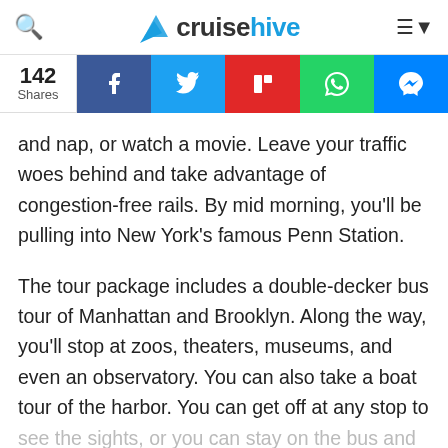cruisehive
[Figure (infographic): Social share bar showing 142 Shares with Facebook, Twitter, Flipboard, WhatsApp, and Messenger buttons]
and nap, or watch a movie. Leave your traffic woes behind and take advantage of congestion-free rails. By mid morning, you'll be pulling into New York's famous Penn Station.
The tour package includes a double-decker bus tour of Manhattan and Brooklyn. Along the way, you'll stop at zoos, theaters, museums, and even an observatory. You can also take a boat tour of the harbor. You can get off at any stop to see the sights, or you can stay on the bus and carry on with the tour.